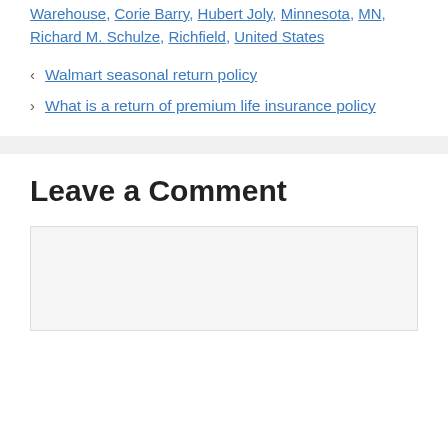Warehouse, Corie Barry, Hubert Joly, Minnesota, MN, Richard M. Schulze, Richfield, United States
< Walmart seasonal return policy
> What is a return of premium life insurance policy
Leave a Comment